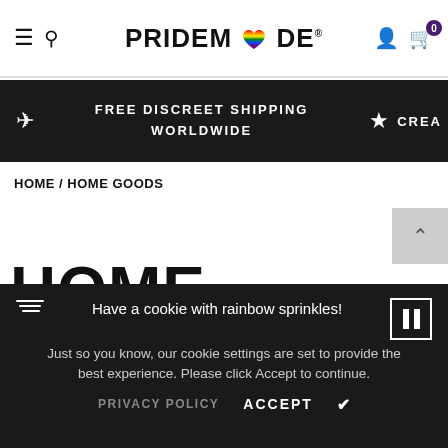PRIDEMODE navigation bar with hamburger menu, search, logo, account, and cart (0)
FREE DISCREET SHIPPING WORLDWIDE
CREA
HOME / HOME GOODS
HOME GOODS
Have a cookie with rainbow sprinkles! Just so you know, our cookie settings are set to provide the best experience. Please click Accept to continue.
PRIVACY POLICY   ACCEPT ✓